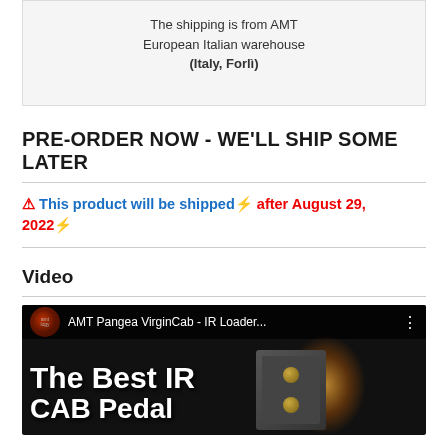The shipping is from AMT European Italian warehouse (Italy, Forlì)
PRE-ORDER NOW - WE'LL SHIP SOME LATER
⚠ This product will be shipped ⚡ after August 29, 2022 ⚡
Video
[Figure (screenshot): YouTube video thumbnail showing 'AMT Pangea VirginCab - IR Loader...' with text 'The Best IR CAB Pedal' overlaid on a dark background with product image and warm glowing light]